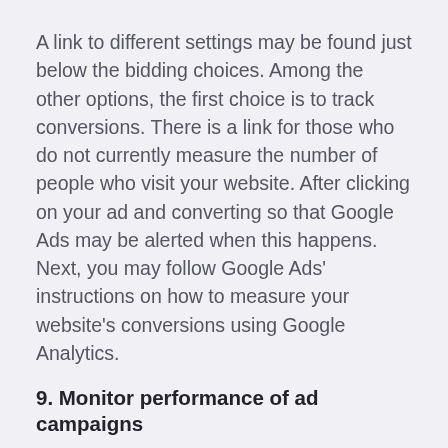A link to different settings may be found just below the bidding choices. Among the other options, the first choice is to track conversions. There is a link for those who do not currently measure the number of people who visit your website. After clicking on your ad and converting so that Google Ads may be alerted when this happens. Next, you may follow Google Ads' instructions on how to measure your website's conversions using Google Analytics.
9. Monitor performance of ad campaigns
For each ad group, you may create and submit individual advertisements for approval to Google Ads at this point. Google will begin running your